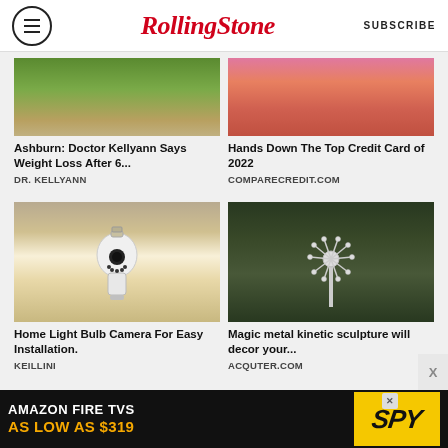RollingStone — SUBSCRIBE
[Figure (photo): Partial image of a person with green plants background (top portion cut off)]
[Figure (photo): Partial image of a person in pink/orange clothing (top portion cut off)]
Ashburn: Doctor Kellyann Says Weight Loss After 6...
DR. KELLYANN
Hands Down The Top Credit Card of 2022
COMPARECREDIT.COM
[Figure (photo): A hand holding a white light bulb security camera]
[Figure (photo): A metal kinetic sculpture that looks like a stylized flower/pinwheel against dark trees]
Home Light Bulb Camera For Easy Installation.
KEILLINI
Magic metal kinetic sculpture will decor your...
ACQUTER.COM
[Figure (screenshot): Amazon Fire TVs advertisement banner — AMAZON FIRE TVS AS LOW AS $319 with SPY logo]